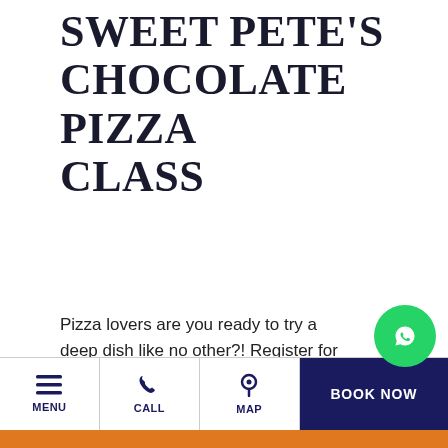SWEET PETE'S CHOCOLATE PIZZA CLASS
Pizza lovers are you ready to try a deep dish like no other?! Register for Sweet Pete's Chocolate Pizza Class and experience pizza with a twist! This interactive class allows participants to create their own unique pizza made completely of chocolate and handcrafted candies from Sweet Pete's candy s... Learn how to successfully create a smooth, glo... even toned coating for dipped chocolates and
MENU | CALL | MAP | BOOK NOW